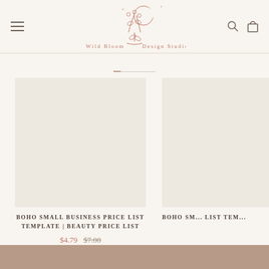Wild Bloom Design Studio — navigation header with logo, hamburger menu, search and cart icons
[Figure (logo): Wild Bloom Design Studio logo with floral botanical illustration and crescent moon in rose/terracotta color, text reads Wild Bloom Design Studio]
[Figure (illustration): Product thumbnail placeholder image for Boho Small Business Price List Template - Beauty Price List]
BOHO SMALL BUSINESS PRICE LIST TEMPLATE | BEAUTY PRICE LIST
$4.79  $7.00
[Figure (illustration): Partial product thumbnail for second Boho Small Business Price List Template product (cropped on right edge)]
BOHO SM... LIST TEM...